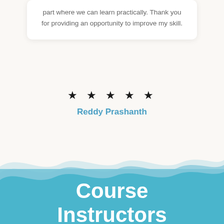part where we can learn practically. Thank you for providing an opportunity to improve my skill.
[Figure (other): Five black star rating icons in a row]
Reddy Prashanth
[Figure (illustration): Layered wave illustration in light blue and teal transitioning into a solid teal background section]
Course Instructors